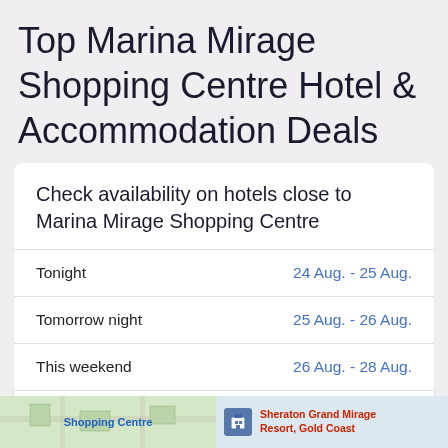Top Marina Mirage Shopping Centre Hotel & Accommodation Deals
Check availability on hotels close to Marina Mirage Shopping Centre
| Period | Dates |
| --- | --- |
| Tonight | 24 Aug. - 25 Aug. |
| Tomorrow night | 25 Aug. - 26 Aug. |
| This weekend | 26 Aug. - 28 Aug. |
| Next weekend | 2 Sep. - 4 Sep. |
[Figure (map): Map strip showing Shopping Centre location on the left and Sheraton Grand Mirage Resort, Gold Coast on the right]